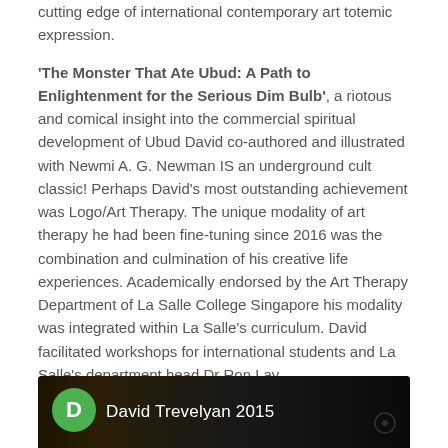cutting edge of international contemporary art totemic expression.
'The Monster That Ate Ubud: A Path to Enlightenment for the Serious Dim Bulb', a riotous and comical insight into the commercial spiritual development of Ubud David co-authored and illustrated with Newmi A. G. Newman IS an underground cult classic! Perhaps David's most outstanding achievement was Logo/Art Therapy. The unique modality of art therapy he had been fine-tuning since 2016 was the combination and culmination of his creative life experiences. Academically endorsed by the Art Therapy Department of La Salle College Singapore his modality was integrated within La Salle's curriculum. David facilitated workshops for international students and La Salle's department head Dr Ron Lay.
[Figure (photo): Dark video thumbnail strip showing a green circle avatar with letter D and text 'David Trevelyan 2015' on a dark background]